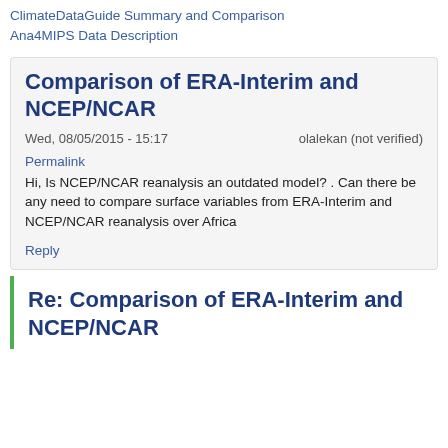ClimateDataGuide Summary and Comparison
Ana4MIPS Data Description
Comparison of ERA-Interim and NCEP/NCAR
Wed, 08/05/2015 - 15:17    olalekan (not verified)
Permalink
Hi, Is NCEP/NCAR reanalysis an outdated model? . Can there be any need to compare surface variables from ERA-Interim and NCEP/NCAR reanalysis over Africa
Reply
Re: Comparison of ERA-Interim and NCEP/NCAR